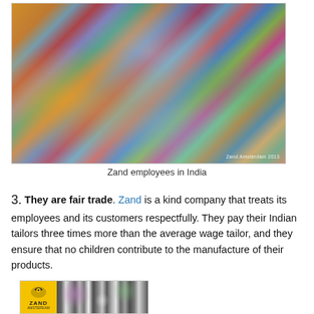[Figure (photo): Photo of Zand employees in India, several women sitting surrounded by colorful fabric and textiles. Watermark reads 'Zand Amsterdam 2013'.]
Zand employees in India
3. They are fair trade. Zand is a kind company that treats its employees and its customers respectfully. They pay their Indian tailors three times more than the average wage tailor, and they ensure that no children contribute to the manufacture of their products.
[Figure (photo): Partial photo showing Zand logo (yellow background with bird icon and 'ZAND' text) alongside colorful printed fabric.]